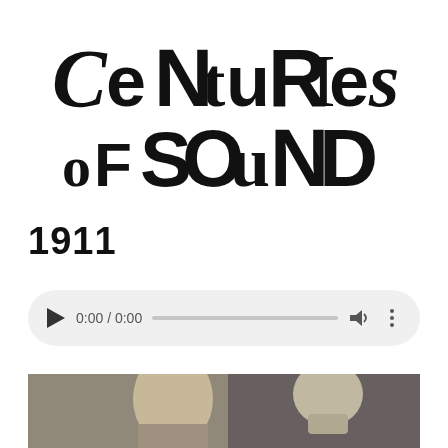[Figure (logo): Centuries of Sound logo with decorative mixed typography in black and white]
1911
[Figure (screenshot): Audio player widget showing 0:00 / 0:00 with play button, progress bar, volume icon, and more options icon]
[Figure (photo): Black and white photograph showing a person's face with a skull visible in the background]